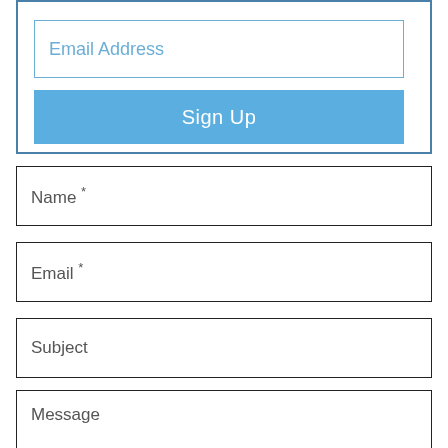[Figure (screenshot): A web form UI showing an email signup box with a blue border containing an 'Email Address' input field and a blue 'Sign Up' button, followed by four input fields labeled 'Name *', 'Email *', 'Subject', and 'Message'.]
Email Address
Sign Up
Name *
Email *
Subject
Message